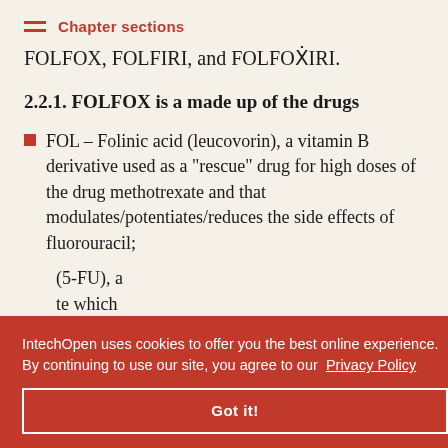Chapter sections
FOLFOX, FOLFIRI, and FOLFOXIRI.
2.2.1. FOLFOX is a made up of the drugs
FOL – Folinic acid (leucovorin), a vitamin B derivative used as a "rescue" drug for high doses of the drug methotrexate and that modulates/potentiates/reduces the side effects of fluorouracil;
(5-FU), a … te which … and stops
IntechOpen uses cookies to offer you the best online experience. By continuing to use our site, you agree to our Privacy Policy